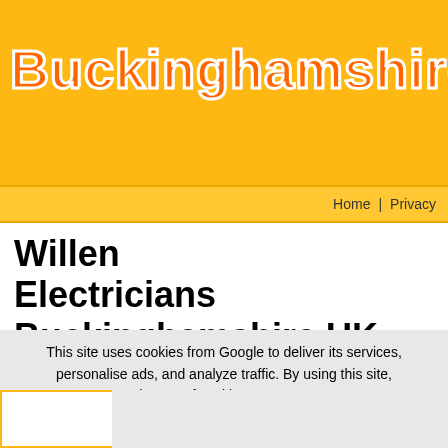Buckinghamshire Map
Home | Privacy
Willen Electricians Buckinghamshire UK
Willen Electricians: Get a hold of electrical specialists and electricians listed in areas around Willen in Buckinghamshire, South-East England, United Kingdom.
This site uses cookies from Google to deliver its services, personalise ads, and analyze traffic. By using this site, you agree to its use of cookies. Learn More  I Agree